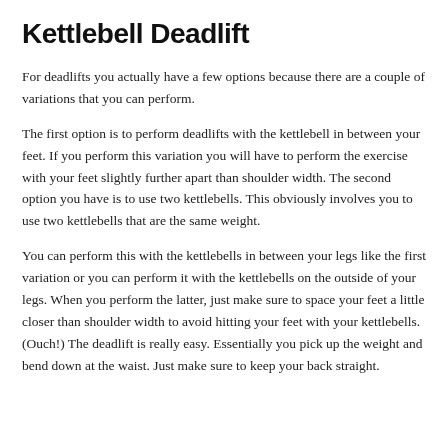Kettlebell Deadlift
For deadlifts you actually have a few options because there are a couple of variations that you can perform.
The first option is to perform deadlifts with the kettlebell in between your feet. If you perform this variation you will have to perform the exercise with your feet slightly further apart than shoulder width. The second option you have is to use two kettlebells. This obviously involves you to use two kettlebells that are the same weight.
You can perform this with the kettlebells in between your legs like the first variation or you can perform it with the kettlebells on the outside of your legs. When you perform the latter, just make sure to space your feet a little closer than shoulder width to avoid hitting your feet with your kettlebells. (Ouch!) The deadlift is really easy. Essentially you pick up the weight and bend down at the waist. Just make sure to keep your back straight.